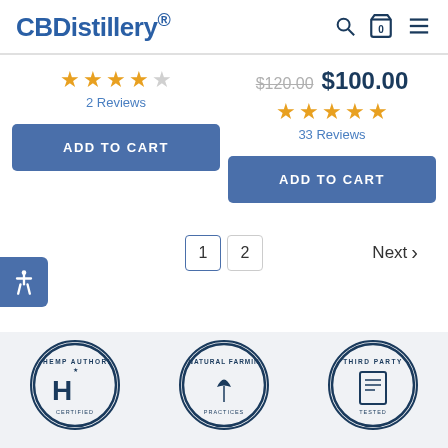CBDistillery.
2 Reviews (3.5 stars)
$120.00  $100.00 — 33 Reviews (5 stars)
ADD TO CART
ADD TO CART
1  2  Next >
[Figure (logo): US Hemp Authority badge circle]
[Figure (logo): Natural Farming badge circle]
[Figure (logo): Third Party badge circle]